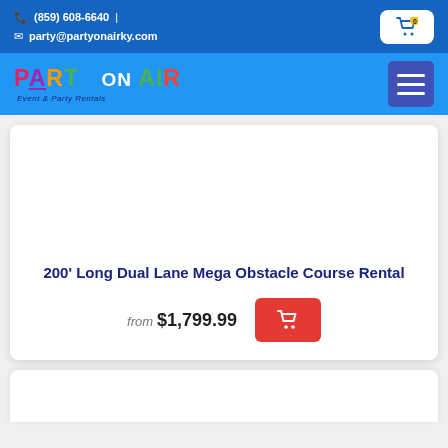(859) 608-6640 | party@partyonairky.com
[Figure (logo): Party On Air - Event & Party Rentals logo with colorful letters and hamburger menu icon]
200' Long Dual Lane Mega Obstacle Course Rental
from $1,799.99